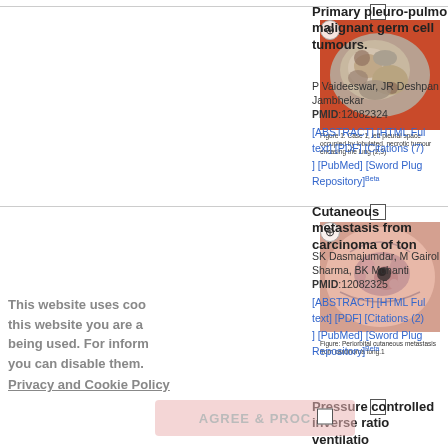[Figure (photo): Medical image showing a tumor specimen - left pleural space occupied by lobulated, necrotic tumour encasing the lung]
Figure 1: Case 1, left pleural space occupied by lobulated, necrotic tumour encasing the lung (2,3)
Primary pleuro-pulmonary malignant germ cell tumours.
P Vaideeswar, JR Deshpan Jambhekar
PMID:12082324
[ABSTRACT] [HTML Full text] [PDF] [Citations (7)] [PubMed] [Sword Plugin Repository]Beta
[Figure (photo): Medical image showing periorbital cutaneous metastasis from carcinoma of tongue]
Figure: Periorbital cutaneous metastasis from carcinoma tong.1
Cutaneous metastasis from carcinoma of tongue.
SK Dasmajumdar, M Gairol Sharma, BK Mohanti
PMID:12082325
[ABSTRACT] [HTML Full text] [PDF] [Citations (2)] [PubMed] [Sword Plugin Repository]Beta
Pressure controlled inverse ratio ventilation in acute respiratory distress syndrome patients.